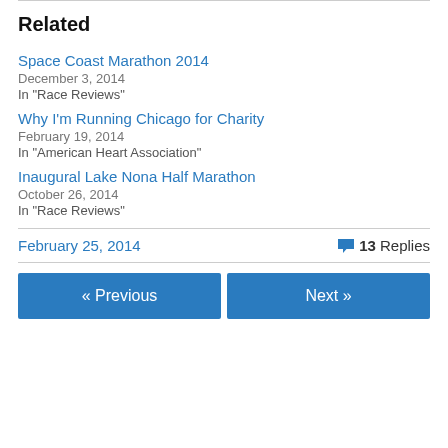Related
Space Coast Marathon 2014
December 3, 2014
In "Race Reviews"
Why I'm Running Chicago for Charity
February 19, 2014
In "American Heart Association"
Inaugural Lake Nona Half Marathon
October 26, 2014
In "Race Reviews"
February 25, 2014   💬 13 Replies
« Previous   Next »